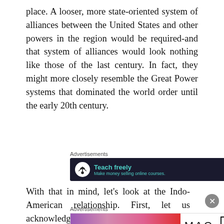place. A looser, more state-oriented system of alliances between the United States and other powers in the region would be required-and that system of alliances would look nothing like those of the last century. In fact, they might more closely resemble the Great Power systems that dominated the world order until the early 20th century.
[Figure (infographic): Advertisement banner: dark navy background with teal tree icon in white circle, 'Teach freely' in teal bold text, 'Make money selling online courses.' in teal smaller text. Labeled 'Advertisements' above and 'REPORT THIS AD' below.]
With that in mind, let's look at the Indo-American relationship. First, let us acknowledge that Donald
[Figure (infographic): Advertisement banner: MAC cosmetics ad showing lipsticks in purple, pink, and red colors, MAC logo in script, and 'SHOP NOW' button in black border box. Labeled 'Advertisements' above and 'REPORT THIS AD' below.]